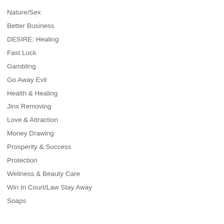Nature/Sex
Better Business
DESIRE: Healing
Fast Luck
Gambling
Go Away Evil
Health & Healing
Jinx Removing
Love & Attraction
Money Drawing
Prosperity & Success
Protection
Wellness & Beauty Care
Win In Court/Law Stay Away
Soaps